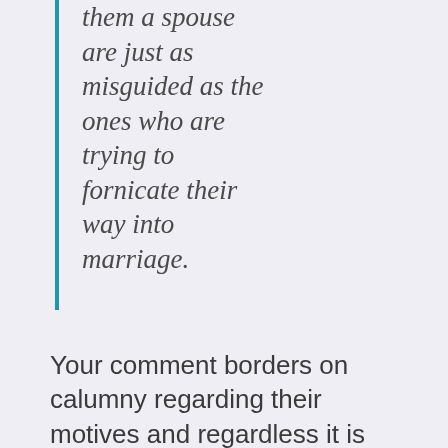them a spouse are just as misguided as the ones who are trying to fornicate their way into marriage.
Your comment borders on calumny regarding their motives and regardless it is always worse to choose grave evil than to do what the